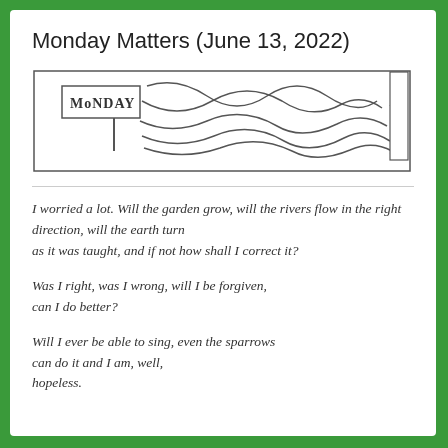Monday Matters (June 13, 2022)
[Figure (illustration): Hand-drawn horizontal banner with a wooden sign reading MONDAY on the left side, and flowing wave/ribbon patterns extending to the right with radiating sun lines at the far right corner]
I worried a lot. Will the garden grow, will the rivers flow in the right direction, will the earth turn
as it was taught, and if not how shall I correct it?
Was I right, was I wrong, will I be forgiven,
can I do better?
Will I ever be able to sing, even the sparrows
can do it and I am, well,
hopeless.